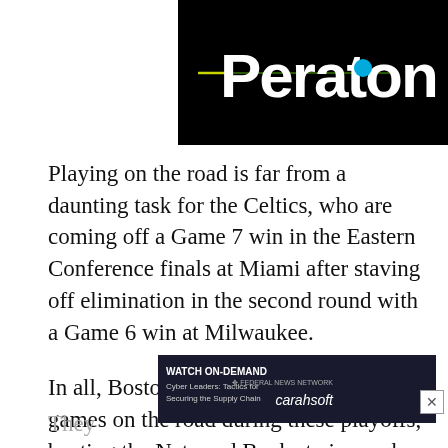[Figure (logo): Peraton company logo — white bold text on black background with a blue circle dot and yellow-green horizontal line accent]
Playing on the road is far from a daunting task for the Celtics, who are coming off a Game 7 win in the Eastern Conference finals at Miami after staving off elimination in the second round with a Game 6 win at Milwaukee.
In all, Boston has won seven of nine games on the road during these playoffs, beating the Nets and Bucks twice each and the Heat three times.
[Figure (screenshot): Advertisement banner: WATCH ON-DEMAND — Cyber Leaders: Tactics for Securing the Supply Chain — Federal News Network / carahsoft]
They